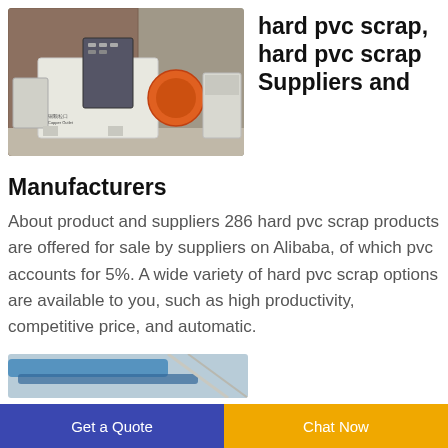[Figure (photo): Industrial PVC scrap processing machine (shredder/granulator) in an outdoor factory setting, white and orange colored machinery with a control panel]
hard pvc scrap, hard pvc scrap Suppliers and Manufacturers
Manufacturers
About product and suppliers 286 hard pvc scrap products are offered for sale by suppliers on Alibaba, of which pvc accounts for 5%. A wide variety of hard pvc scrap options are available to you, such as high productivity, competitive price, and automatic.
[Figure (photo): Partial view of another industrial machine or product at the bottom of the page]
Get a Quote | Chat Now